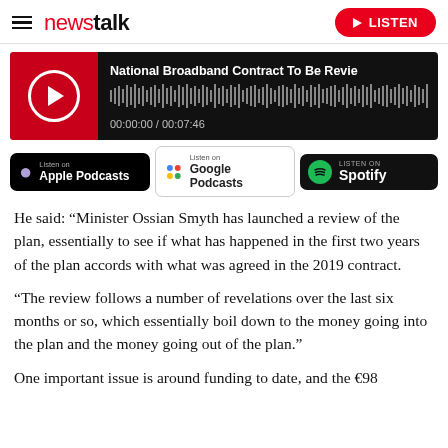newstalk — LISTEN
[Figure (screenshot): Audio player for podcast episode 'National Broadband Contract To Be Revie' showing waveform, duration 00:00:00 / 00:07:46]
[Figure (screenshot): Podcast listening badges: Listen on Apple Podcasts, Listen on Google Podcasts, Listen on Spotify]
He said: “Minister Ossian Smyth has launched a review of the plan, essentially to see if what has happened in the first two years of the plan accords with what was agreed in the 2019 contract.
“The review follows a number of revelations over the last six months or so, which essentially boil down to the money going into the plan and the money going out of the plan.”
One important issue is around funding to date, and the €98